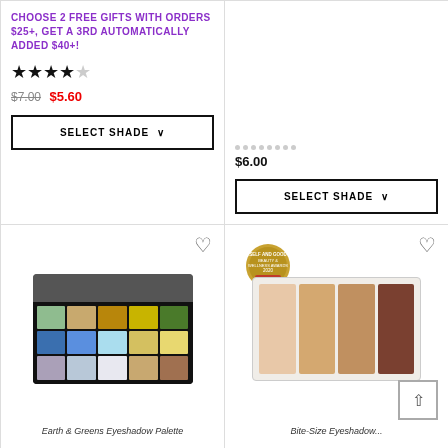CHOOSE 2 FREE GIFTS WITH ORDERS $25+, GET A 3RD AUTOMATICALLY ADDED $40+!
★★★★☆ $7.00 $5.60
SELECT SHADE
$6.00
SELECT SHADE
[Figure (photo): Earth & Greens eyeshadow palette with 15 shades in blues, greens, browns, and yellows arranged in a 5x3 grid in a black compact]
Earth & Greens Eyeshadow Palette
[Figure (photo): Bite-Size eyeshadow palette with 4 nude/brown shades in a clear compact, with a Self and Good Beauty & Wellness Awards 2020 Winner badge]
Bite-Size Eyeshadow...